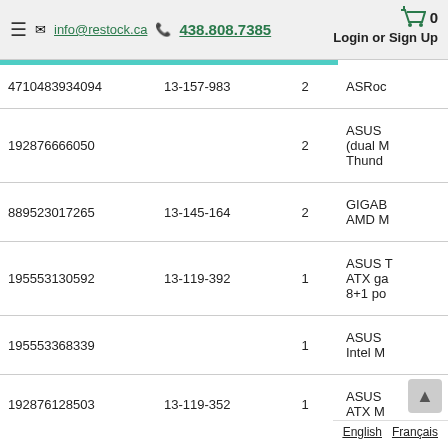info@restock.ca  438.808.7385  Login or Sign Up
| Barcode | SKU | Qty | Description |
| --- | --- | --- | --- |
| 4710483934094 | 13-157-983 | 2 | ASRoc |
| 192876666050 |  | 2 | ASUS
(dual M
Thund |
| 889523017265 | 13-145-164 | 2 | GIGAB
AMD M |
| 195553130592 | 13-119-392 | 1 | ASUS T
ATX ga
8+1 po |
| 195553368339 |  | 1 | ASUS
Intel M |
| 192876128503 | 13-119-352 | 1 | ASUS
ATX M |